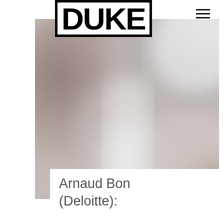DUKE
[Figure (photo): Abstract blurred photograph with muted grey, white, and taupe tones suggesting an architectural or interior space]
Arnaud Bon (Deloitte):